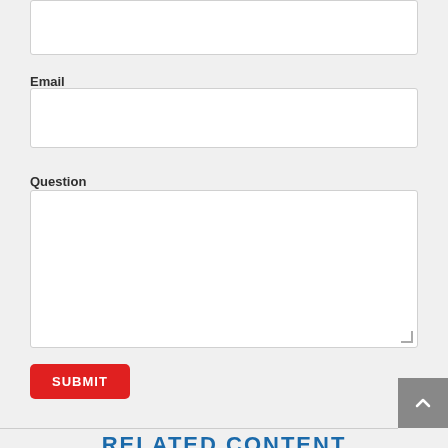(text input box - top, partially visible)
Email
(email input box)
Question
(question textarea)
SUBMIT
RELATED CONTENT